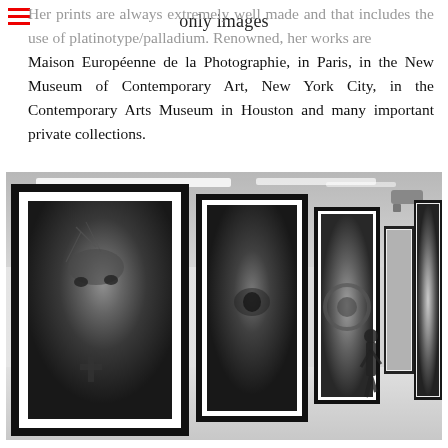only images
Maison Européenne de la Photographie, in Paris, in the New Museum of Contemporary Art, New York City, in the Contemporary Arts Museum in Houston and many important private collections.
[Figure (photo): Black and white photograph of a gallery hallway with large framed portrait photographs on white walls. The leftmost large frame shows a heavily tattooed person's face and upper body. Additional framed artworks recede into the distance along the corridor. A person is visible walking in the background.]